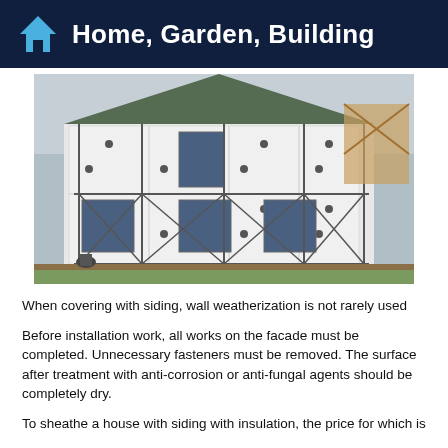Home, Garden, Building
[Figure (photo): House under construction with insulation panels (white foam boards with black dots) attached to exterior walls, supported by metal scaffolding. A worker is visible at the base. Exposed wooden roof structure visible on the right side.]
When covering with siding, wall weatherization is not rarely used
Before installation work, all works on the facade must be completed. Unnecessary fasteners must be removed. The surface after treatment with anti-corrosion or anti-fungal agents should be completely dry.
To sheathe a house with siding with insulation, the price for which is